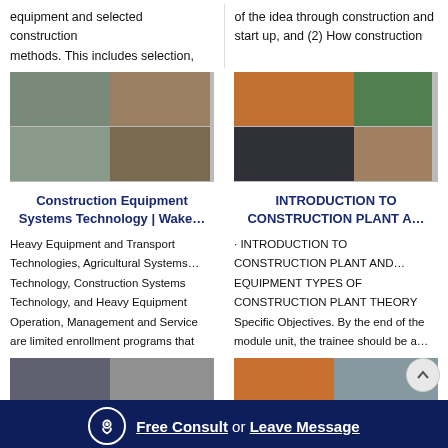equipment and selected construction methods. This includes selection,
of the idea through construction and start up, and (2) How construction
[Figure (photo): Four quadrant collage of construction equipment and machinery at industrial sites]
[Figure (photo): Four quadrant collage of construction plant and equipment including crushers and conveyors]
Construction Equipment Systems Technology | Wake…
INTRODUCTION TO CONSTRUCTION PLANT A…
Heavy Equipment and Transport Technologies, Agricultural Systems… Technology, Construction Systems Technology, and Heavy Equipment Operation, Management and Service are limited enrollment programs that
· INTRODUCTION TO CONSTRUCTION PLANT AND… EQUIPMENT TYPES OF CONSTRUCTION PLANT THEORY Specific Objectives. By the end of the module unit, the trainee should be a…
[Figure (photo): Bottom partial image of construction equipment]
[Figure (photo): Bottom partial image of construction plant]
Free Consult or Leave Message